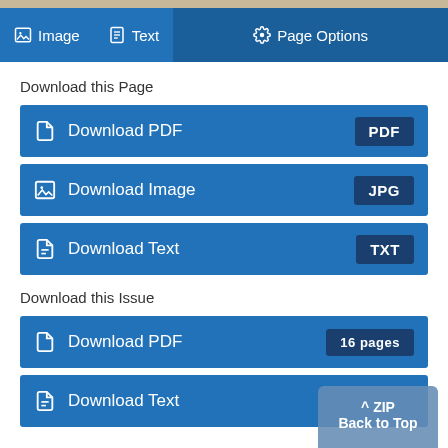[Figure (screenshot): Top navigation bar with Image, Text, and Page Options tabs on a blue/dark-blue background, above a tan document strip]
Download this Page
Download PDF [PDF]
Download Image [JPG]
Download Text [TXT]
Download this Issue
Download PDF [16 pages]
Download Text [ZIP]
Back to Top